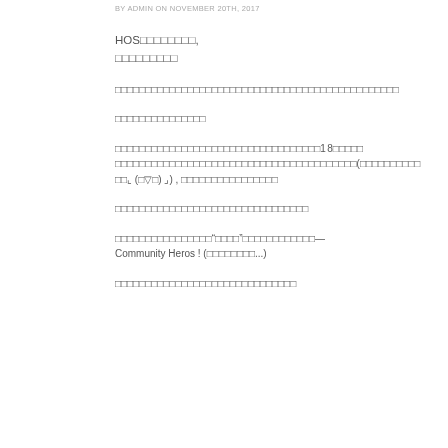BY ADMIN ON NOVEMBER 20TH, 2017
HOS□□□□□□□□,
□□□□□□□□□
□□□□□□□□□□□□□□□□□□□□□□□□□□□□□□□□□□□□□□□□□□□□□□□
□□□□□□□□□□□□□□□
□□□□□□□□□□□□□□□□□□□□□□□□□□□□□□□□□□18□□□□□
□□□□□□□□□□□□□□□□□□□□□□□□□□□□□□□□□□□□□□□□(□□□□□□□□□□
□□⌞ (□▽□) ⌟) , □□□□□□□□□□□□□□□□
□□□□□□□□□□□□□□□□□□□□□□□□□□□□□□□□
□□□□□□□□□□□□□□□□“□□□□”□□□□□□□□□□□□—
Community Heros ! (□□□□□□□□...)
□□□□□□□□□□□□□□□□□□□□□□□□□□□□□□